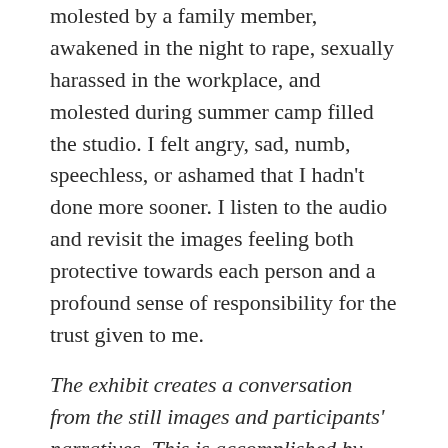molested by a family member, awakened in the night to rape, sexually harassed in the workplace, and molested during summer camp filled the studio. I felt angry, sad, numb, speechless, or ashamed that I hadn't done more sooner. I listen to the audio and revisit the images feeling both protective towards each person and a profound sense of responsibility for the trust given to me.
The exhibit creates a conversation from the still images and participants' narratives. This is accomplished by dispersing the voices throughout the space, heard as the viewer moves though the installation. Photographs of the